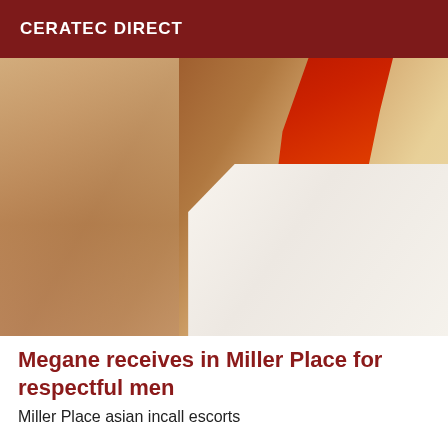CERATEC DIRECT
[Figure (photo): Close-up photo of a person wearing white clothing with a red fabric element, appearing to show a back or torso area against light-colored bedding.]
Megane receives in Miller Place for respectful men
Miller Place asian incall escorts